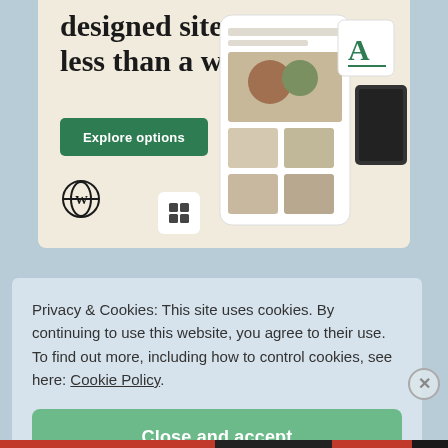[Figure (screenshot): WordPress advertisement banner showing 'designed sites in less than a week' with an Explore options button, WordPress logo, and mockup of a website on a phone/tablet device. Background is beige/cream.]
Privacy & Cookies: This site uses cookies. By continuing to use this website, you agree to their use.
To find out more, including how to control cookies, see here: Cookie Policy.
Close and accept